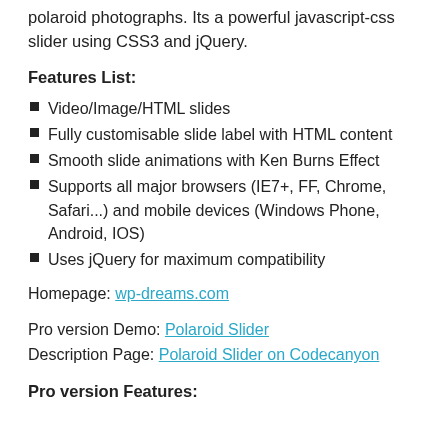polaroid photographs. Its a powerful javascript-css slider using CSS3 and jQuery.
Features List:
Video/Image/HTML slides
Fully customisable slide label with HTML content
Smooth slide animations with Ken Burns Effect
Supports all major browsers (IE7+, FF, Chrome, Safari...) and mobile devices (Windows Phone, Android, IOS)
Uses jQuery for maximum compatibility
Homepage: wp-dreams.com
Pro version Demo: Polaroid Slider
Description Page: Polaroid Slider on Codecanyon
Pro version Features: